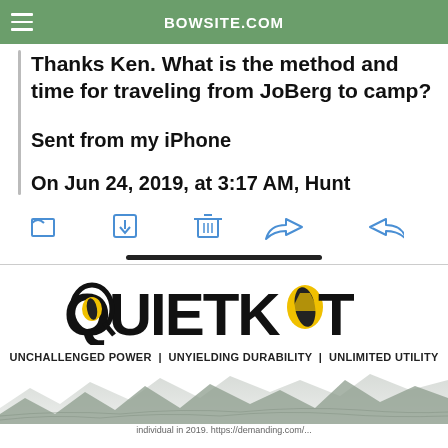BOWSITE.COM
Thanks Ken. What is the method and time for traveling from JoBerg to camp?
Sent from my iPhone
On Jun 24, 2019, at 3:17 AM, Hunt
[Figure (screenshot): Row of action icons: folder, download, trash, reply, forward]
[Figure (logo): QuietKat logo with yellow cat eyes]
UNCHALLENGED POWER  |  UNYIELDING DURABILITY  | UNLIMITED UTILITY
[Figure (illustration): Mountain silhouette topographic background]
individual in 2019. https://demanding.com/...